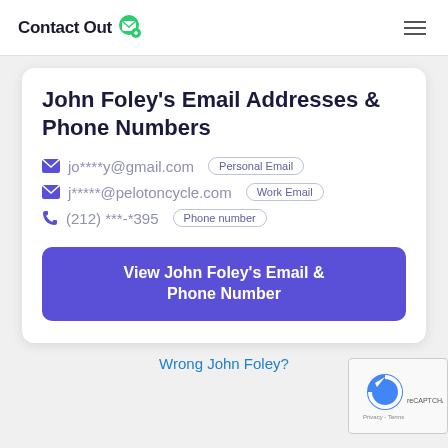ContactOut
John Foley's Email Addresses & Phone Numbers
jo****y@gmail.com  Personal Email
j*****@pelotoncycle.com  Work Email
(212) ***-*395  Phone number
View John Foley's Email & Phone Number
Wrong John Foley?